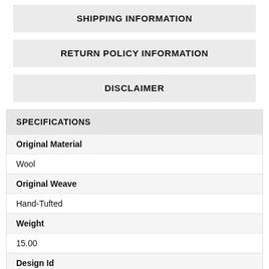SHIPPING INFORMATION
RETURN POLICY INFORMATION
DISCLAIMER
| SPECIFICATIONS |
| --- |
| Original Material |
| Wool |
| Original Weave |
| Hand-Tufted |
| Weight |
| 15.00 |
| Design Id |